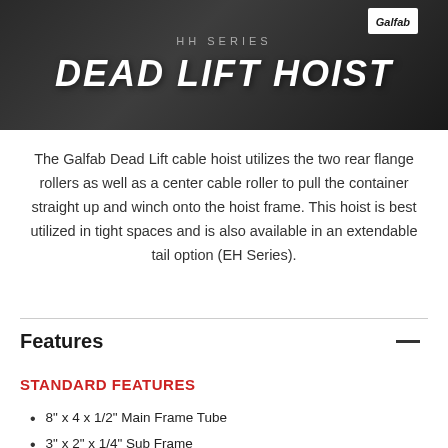[Figure (photo): Dark banner image showing industrial hoist equipment with 'HH SERIES' subtitle and 'DEAD LIFT HOIST' title in white bold italic text, with a Galfab logo badge in the upper right corner.]
The Galfab Dead Lift cable hoist utilizes the two rear flange rollers as well as a center cable roller to pull the container straight up and winch onto the hoist frame. This hoist is best utilized in tight spaces and is also available in an extendable tail option (EH Series).
Features
STANDARD FEATURES
8" x 4 x 1/2" Main Frame Tube
3" x 2" x 1/4" Sub Frame
3 1/2" Diameter Rear Hinge